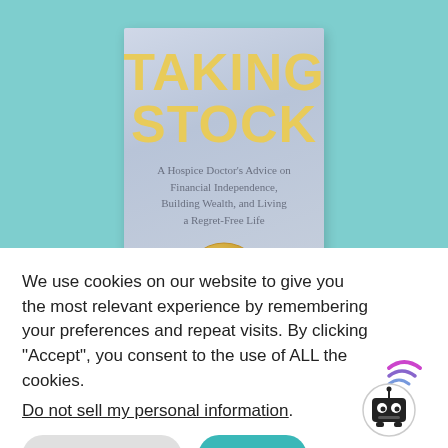[Figure (illustration): Book cover for 'Taking Stock: A Hospice Doctor's Advice on Financial Independence, Building Wealth, and Living a Regret-Free Life'. The cover features large golden/yellow bold text 'TAKING STOCK' on a light blue-grey background, with a subtitle in grey serif text and a gold coin image at the bottom. The book cover is displayed against a teal/turquoise background.]
We use cookies on our website to give you the most relevant experience by remembering your preferences and repeat visits. By clicking “Accept”, you consent to the use of ALL the cookies.
Do not sell my personal information.
Cookie Settings
Accept